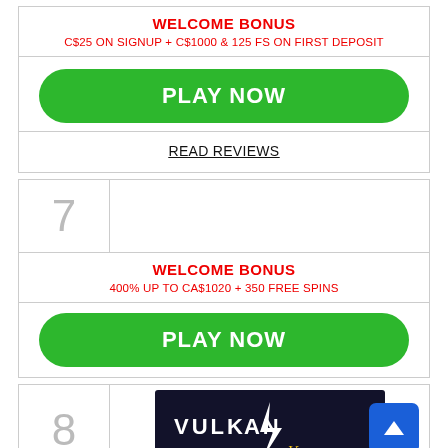WELCOME BONUS
C$25 ON SIGNUP + C$1000 & 125 FS ON FIRST DEPOSIT
PLAY NOW
READ REVIEWS
7
WELCOME BONUS
400% UP TO CA$1020 + 350 FREE SPINS
PLAY NOW
8
[Figure (logo): Vulkan Vegas casino logo on dark background]